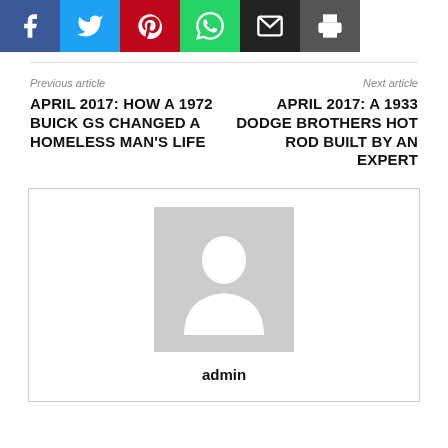[Figure (other): Social sharing buttons: Facebook (blue), Twitter (cyan), Pinterest (red), WhatsApp (green), Email (black), Print (dark gray)]
Previous article
APRIL 2017: HOW A 1972 BUICK GS CHANGED A HOMELESS MAN'S LIFE
Next article
APRIL 2017: A 1933 DODGE BROTHERS HOT ROD BUILT BY AN EXPERT
[Figure (photo): Author avatar placeholder - gray background with white silhouette figure]
admin